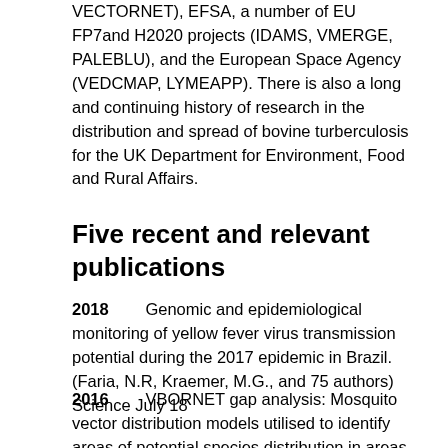VECTORNET), EFSA, a number of EU FP7and H2020 projects (IDAMS, VMERGE, PALEBLU), and the European Space Agency (VEDCMAP, LYMEAPP). There is also a long and continuing history of research in the distribution and spread of bovine turberculosis for the UK Department for Environment, Food and Rural Affairs.
Five recent and relevant publications
2018        Genomic and epidemiological monitoring of yellow fever virus transmission potential during the 2017 epidemic in Brazil. (Faria, N.R, Kraemer, M.G., and 75 authors)  Science July 18
2016        VBORNET gap analysis: Mosquito vector distribution models utilised to identify areas of potential species distribution in areas lacking